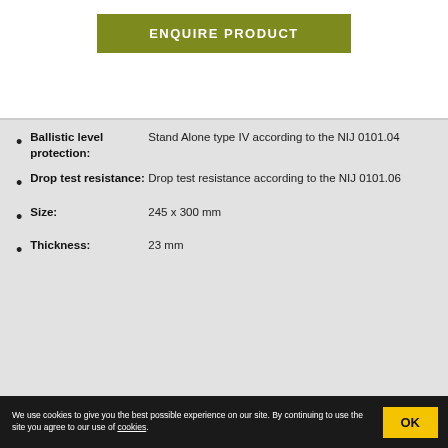ENQUIRE PRODUCT
Ballistic level protection: Stand Alone type IV according to the NIJ 0101.04
Drop test resistance: Drop test resistance according to the NIJ 0101.06
Size: 245 x 300 mm
Thickness: 23 mm
We use cookies to give you the best possible experience on our site. By continuing to use the site you agree to our use of cookies.